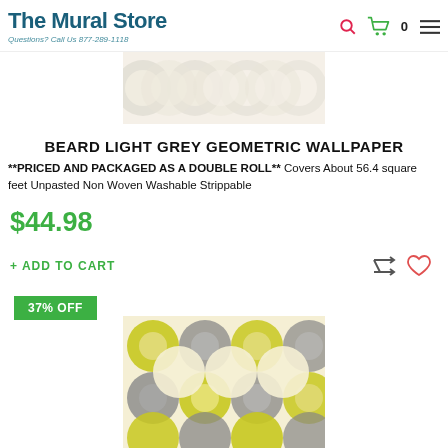The Mural Store — Questions? Call Us 877-289-1118
[Figure (photo): Partial view of light grey geometric circle pattern wallpaper, cream/beige background with grey circular shapes]
BEARD LIGHT GREY GEOMETRIC WALLPAPER
**PRICED AND PACKAGED AS A DOUBLE ROLL** Covers About 56.4 square feet Unpasted Non Woven Washable Strippable
$44.98
+ ADD TO CART
[Figure (photo): Wallpaper product image showing bold geometric circles in yellow/chartreuse and grey on cream background, with 37% OFF badge overlay]